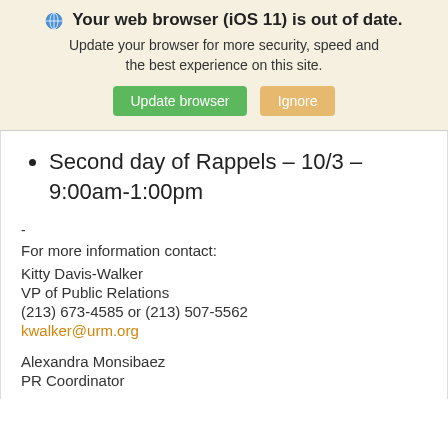🌐 Your web browser (iOS 11) is out of date. Update your browser for more security, speed and the best experience on this site. [Update browser] [Ignore]
Second day of Rappels – 10/3 – 9:00am-1:00pm
-
For more information contact:
Kitty Davis-Walker
VP of Public Relations
(213) 673-4585 or (213) 507-5562
kwalker@urm.org
Alexandra Monsibaez
PR Coordinator